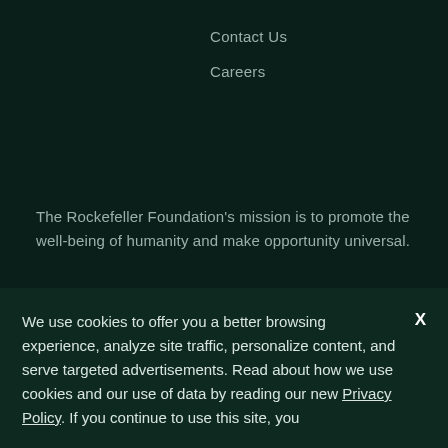Contact Us
Careers
The Rockefeller Foundation's mission is to promote the well-being of humanity and make opportunity universal.
Subscribe
Sign up for our newsletter to stay updated on all the latest
We use cookies to offer you a better browsing experience, analyze site traffic, personalize content, and serve targeted advertisements. Read about how we use cookies and our use of data by reading our new Privacy Policy. If you continue to use this site, you